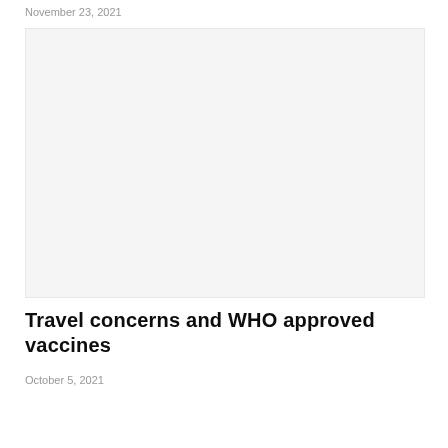November 23, 2021
[Figure (photo): Placeholder image area for article photo, light gray background]
Travel concerns and WHO approved vaccines
October 5, 2021